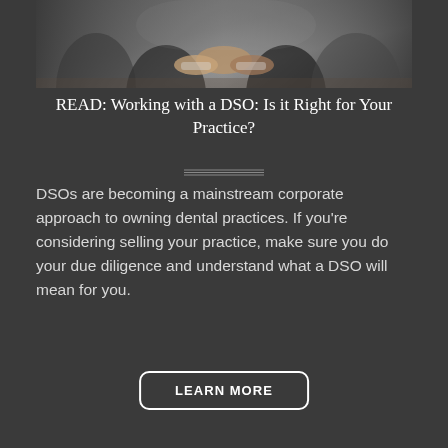[Figure (photo): Photo of people shaking hands in a business/professional setting, dark toned background]
READ: Working with a DSO: Is it Right for Your Practice?
DSOs are becoming a mainstream corporate approach to owning dental practices. If you're considering selling your practice, make sure you do your due diligence and understand what a DSO will mean for you.
LEARN MORE